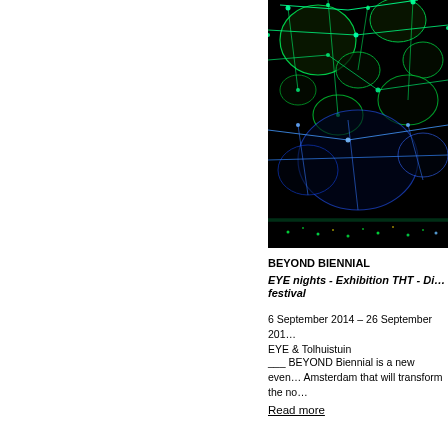[Figure (photo): Glowing green and blue network/mesh structure with large dark spherical bubbles against a black background, with city lights visible at the bottom]
BEYOND BIENNIAL
EYE nights - Exhibition THT - Di... festival
6 September 2014 – 26 September 201...
EYE & Tolhuistuin
___ BEYOND Biennial is a new even... Amsterdam that will transform the no...
Read more